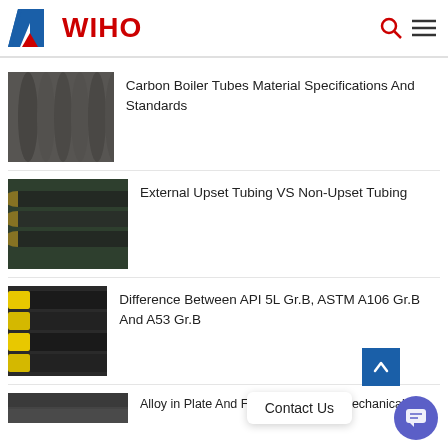AWIHO
[Figure (photo): Stack of carbon steel boiler tubes in an industrial setting]
Carbon Boiler Tubes Material Specifications And Standards
[Figure (photo): External upset tubing pipes with thickened ends on a green floor]
External Upset Tubing VS Non-Upset Tubing
[Figure (photo): Black pipes with yellow end caps bundled together]
Difference Between API 5L Gr.B, ASTM A106 Gr.B And A53 Gr.B
[Figure (photo): Partial view of another steel pipe article thumbnail at the bottom]